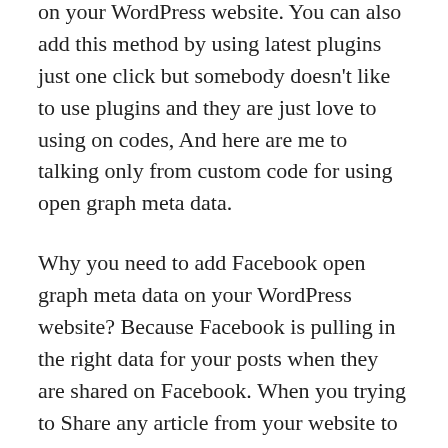on your WordPress website. You can also add this method by using latest plugins just one click but somebody doesn't like to use plugins and they are just love to using on codes, And here are me to talking only from custom code for using open graph meta data.
Why you need to add Facebook open graph meta data on your WordPress website? Because Facebook is pulling in the right data for your posts when they are shared on Facebook. When you trying to Share any article from your website to Facebook wall or anywhere on Facebook then FB Open graph automatic catch from your website's right thumbnail image, title, description etc.
Anyway in this article i will share you how you can add